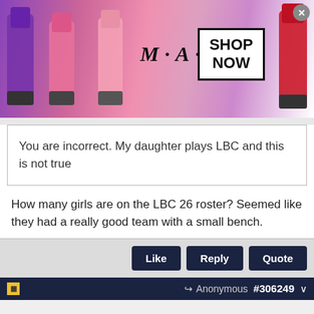[Figure (screenshot): MAC cosmetics advertisement banner with lipsticks and SHOP NOW button]
You are incorrect. My daughter plays LBC and this is not true
How many girls are on the LBC 26 roster? Seemed like they had a really good team with a small bench.
[Figure (screenshot): Like, Reply, Quote action buttons]
Anonymous #306249
Anonymous
Unregistered
[Figure (screenshot): Cheryl's Cookie Delivery advertisement banner]